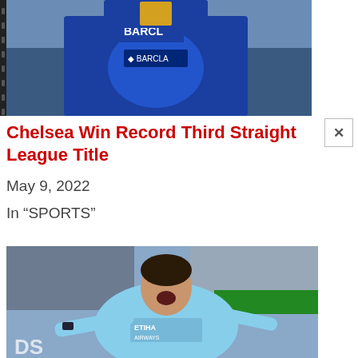[Figure (photo): Top portion of a photo showing a Chelsea player in blue jersey holding a trophy, crowd in background, with a Barclays banner visible]
Chelsea Win Record Third Straight League Title
May 9, 2022
In "SPORTS"
[Figure (photo): A Manchester City player in light blue Etihad Airways jersey celebrating with mouth open wide, arms outstretched, crowd visible in background]